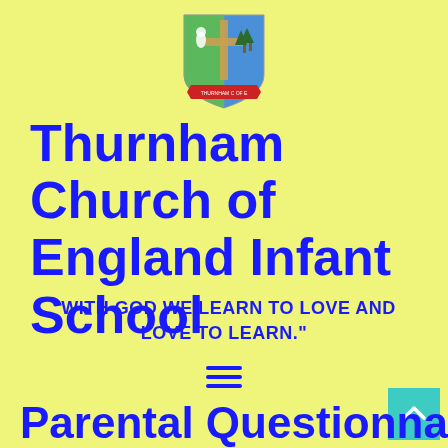[Figure (logo): Thurnham Church of England Infant School shield/crest logo with cross and trees, red banner at bottom]
Thurnham Church of England Infant School
"WITH GOD WE LEARN TO LOVE AND LOVE TO LEARN."
[Figure (other): Hamburger menu icon (three horizontal lines)]
Parental Questionnaire 2016